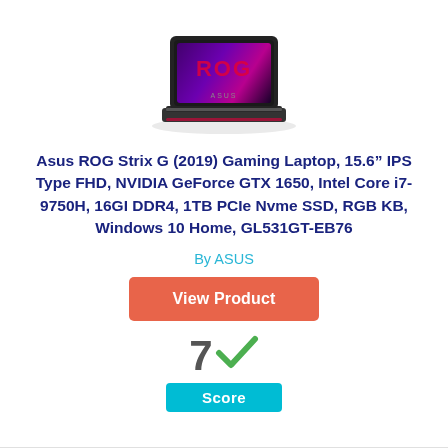[Figure (photo): ASUS ROG Strix G gaming laptop product photo, open lid showing ROG branded display, dark chassis, viewed from front-left angle]
Asus ROG Strix G (2019) Gaming Laptop, 15.6″ IPS Type FHD, NVIDIA GeForce GTX 1650, Intel Core i7-9750H, 16GI DDR4, 1TB PCIe Nvme SSD, RGB KB, Windows 10 Home, GL531GT-EB76
By ASUS
View Product
[Figure (infographic): Score badge showing the number 7 with a green checkmark, and a cyan 'Score' label below]